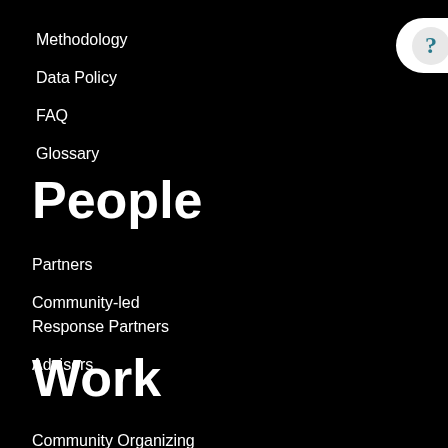Methodology
Data Policy
FAQ
Glossary
People
Partners
Community-led Response Partners
Advisors
Work
Community Organizing
Data